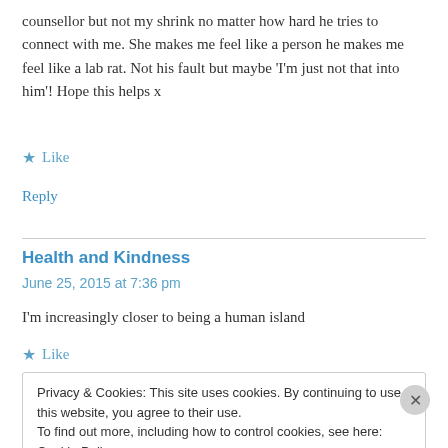counsellor but not my shrink no matter how hard he tries to connect with me. She makes me feel like a person he makes me feel like a lab rat. Not his fault but maybe 'I'm just not that into him'! Hope this helps x
★ Like
Reply
Health and Kindness
June 25, 2015 at 7:36 pm
I'm increasingly closer to being a human island
★ Like
Privacy & Cookies: This site uses cookies. By continuing to use this website, you agree to their use. To find out more, including how to control cookies, see here: Cookie Policy
Close and accept